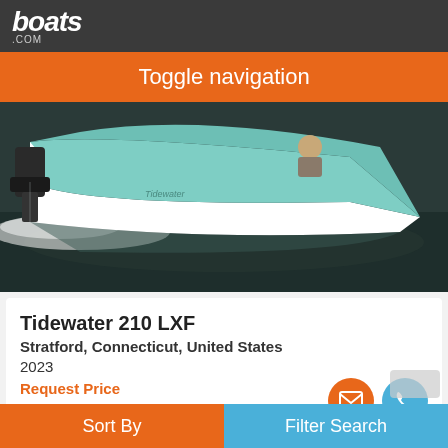[Figure (logo): boats.com logo in white italic bold text on dark background]
Toggle navigation
[Figure (photo): A teal/mint colored Tidewater boat speeding on dark water, side profile view, with outboard motor visible at stern]
Tidewater 210 LXF
Stratford, Connecticut, United States
2023
Request Price
Seller Hitchcock Landmark Marine
Sort By    Filter Search